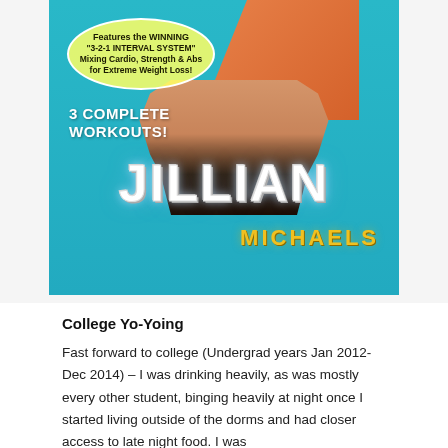[Figure (photo): Jillian Michaels DVD cover showing a fit woman in an orange sports bra against a teal/cyan background. Features a yellow elliptical badge reading 'Features the WINNING "3-2-1 INTERVAL SYSTEM" Mixing Cardio, Strength & Abs for Extreme Weight Loss!', text '3 COMPLETE WORKOUTS!', large white stylized 'JILLIAN' text, and gold 'MICHAELS' text.]
College Yo-Yoing
Fast forward to college (Undergrad years Jan 2012-Dec 2014) – I was drinking heavily, as was mostly every other student, binging heavily at night once I started living outside of the dorms and had closer access to late night food. I was